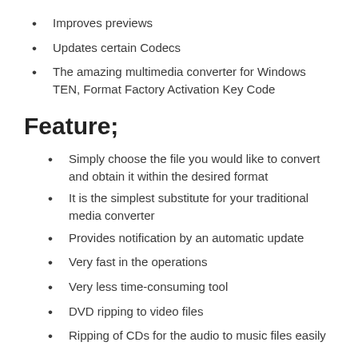Improves previews
Updates certain Codecs
The amazing multimedia converter for Windows TEN, Format Factory Activation Key Code
Feature;
Simply choose the file you would like to convert and obtain it within the desired format
It is the simplest substitute for your traditional media converter
Provides notification by an automatic update
Very fast in the operations
Very less time-consuming tool
DVD ripping to video files
Ripping of CDs for the audio to music files easily